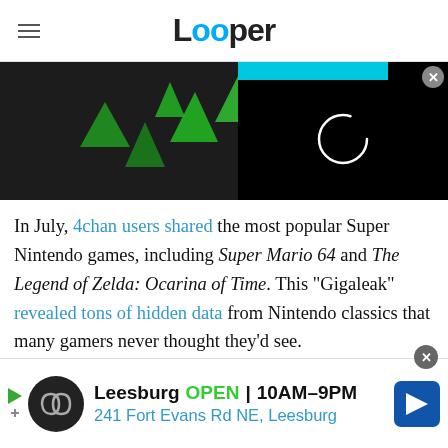Looper
[Figure (screenshot): Website banner image showing dark background with green triangle shapes on left, and a video player overlay on right with cyan bar and loading spinner]
In July, 4chan users shared the most popular Super Nintendo games, including Super Mario 64 and The Legend of Zelda: Ocarina of Time. This "Gigaleak" revealed tons of hidden data from Nintendo classics that many gamers never thought they'd see.
[Figure (screenshot): Advertisement banner: Leesburg OPEN 10AM-9PM, 241 Fort Evans Rd NE, Leesburg]